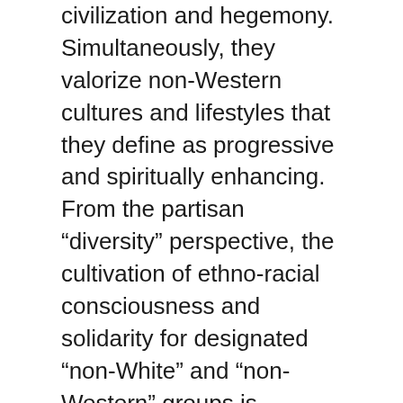civilization and hegemony. Simultaneously, they valorize non-Western cultures and lifestyles that they define as progressive and spiritually enhancing. From the partisan “diversity” perspective, the cultivation of ethno-racial consciousness and solidarity for designated “non-White” and “non-Western” groups is progressive and desirable, whereas a color-blind individualistic approach is treated as racist and reactionary.
Moreover, for the past fifty years, mainstream humanities disciplines such as sociology, literary studies, American studies, geography, anthropology, social work, and especially education acquired a